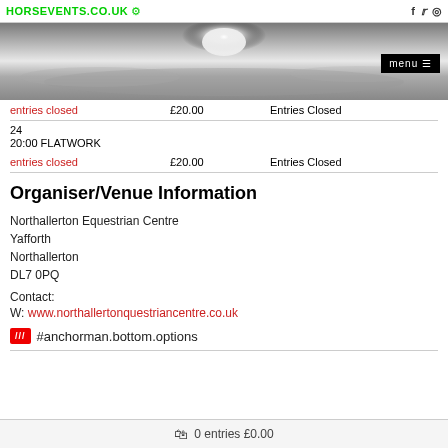HORSEVENTS.CO.UK
[Figure (photo): Grayscale panoramic hero image of a dramatic sky with bright sunlight breaking through clouds]
| entries closed | £20.00 | Entries Closed |
| 24 |  |  |
| 20:00 FLATWORK |  |  |
| entries closed | £20.00 | Entries Closed |
Organiser/Venue Information
Northallerton Equestrian Centre
Yafforth
Northallerton
DL7 0PQ
Contact:
W: www.northallertonquestriancentre.co.uk
/// #anchorman.bottom.options
0 entries £0.00